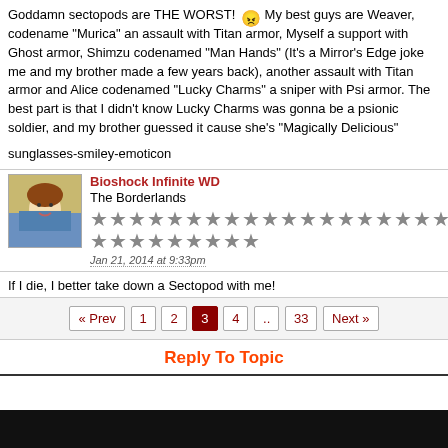Goddamn sectopods are THE WORST! 😠 My best guys are Weaver, codename "Murica" an assault with Titan armor, Myself a support with Ghost armor, Shimzu codenamed "Man Hands" (It's a Mirror's Edge joke me and my brother made a few years back), another assault with Titan armor and Alice codenamed "Lucky Charms" a sniper with Psi armor. The best part is that I didn't know Lucky Charms was gonna be a psionic soldier, and my brother guessed it cause she's "Magically Delicious"
sunglasses-smiley-emoticon
Bioshock Infinite WD
The Borderlands
★★★★★★★★★★★★★★★★★★★★★★★★★
Jan 21, 2014 at 9:33pm
If I die, I better take down a Sectopod with me!
« Prev 1 2 3 4 .. 33 Next »
Reply To Topic